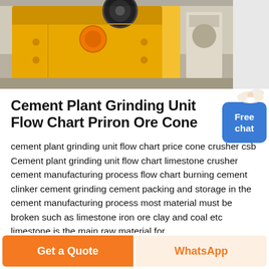[Figure (photo): Yellow industrial jaw crusher machine in a factory/warehouse setting]
Cement Plant Grinding Unit Flow Chart Priron Ore Cone
cement plant grinding unit flow chart price cone crusher csb Cement plant grinding unit flow chart limestone crusher cement manufacturing process flow chart burning cement clinker cement grinding cement packing and storage in the cement manufacturing process most material must be broken such as limestone iron ore clay and coal etc limestone is the main raw material for
Get a Quote | WhatsApp